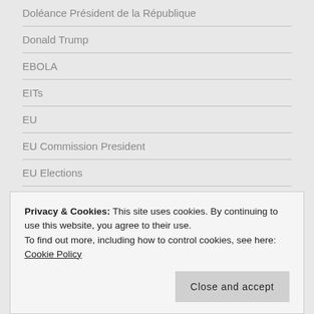Doléance Président de la République
Donald Trump
EBOLA
EITs
EU
EU Commission President
EU Elections
European Union
European Union
Fiction: Christmas
Football
Privacy & Cookies: This site uses cookies. By continuing to use this website, you agree to their use.
To find out more, including how to control cookies, see here: Cookie Policy
Close and accept